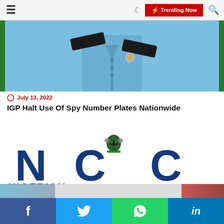≡  🌙  ⚡ Trending Now  🔍
[Figure (photo): Police officer in blue uniform with black epaulettes and green background stripes]
July 13, 2022
IGP Halt Use Of Spy Number Plates Nationwide
[Figure (logo): Nigerian Communications Commission (NCC) logo with large NCC letters and Nigerian coat of arms]
f  Twitter  WhatsApp  in